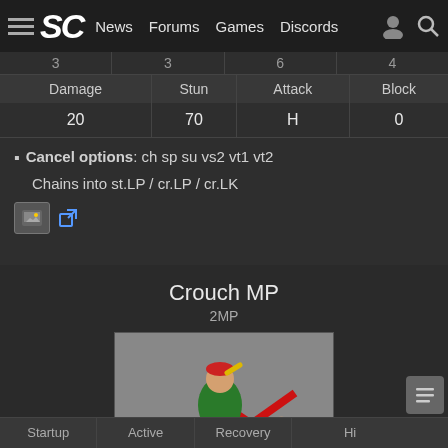SC  News  Forums  Games  Discords
| Damage | Stun | Attack | Block |
| --- | --- | --- | --- |
| 20 | 70 | H | 0 |
Cancel options: ch sp su vs2 vt1 vt2
Chains into st.LP / cr.LP / cr.LK
Crouch MP
2MP
[Figure (screenshot): Street Fighter V character Cammy performing Crouch MP move, crouching with arm extended forward in a punch motion]
| Startup | Active | Recovery | Hi |
| --- | --- | --- | --- |